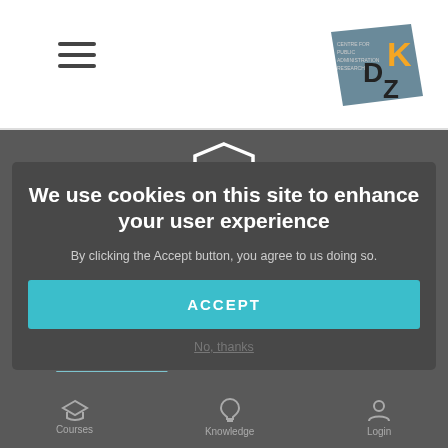KDZ – Centre for Public Administration Research
[Figure (screenshot): Website screenshot showing KDZ services page with a cookie consent overlay dialog. The overlay contains the message 'We use cookies on this site to enhance your user experience', a body text 'By clicking the Accept button, you agree to us doing so.', an ACCEPT button in teal, and a 'No, thanks' link. Behind the overlay is a dark grey page with SERVICES heading, a shield icon, Public Management Consulting section, Our focus section with list items, and a bottom navigation bar with Courses, Knowledge, and Login icons.]